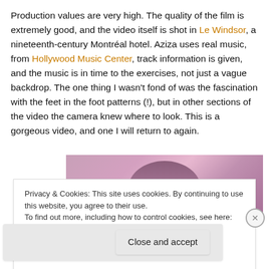Production values are very high. The quality of the film is extremely good, and the video itself is shot in Le Windsor, a nineteenth-century Montréal hotel. Aziza uses real music, from Hollywood Music Center, track information is given, and the music is in time to the exercises, not just a vague backdrop. The one thing I wasn't fond of was the fascination with the feet in the foot patterns (!), but in other sections of the video the camera knew where to look. This is a gorgeous video, and one I will return to again.
[Figure (photo): Partial photo of a woman with dark hair, shot in warm pink/purple tones, likely inside Le Windsor hotel.]
Privacy & Cookies: This site uses cookies. By continuing to use this website, you agree to their use. To find out more, including how to control cookies, see here: Cookie Policy
Close and accept